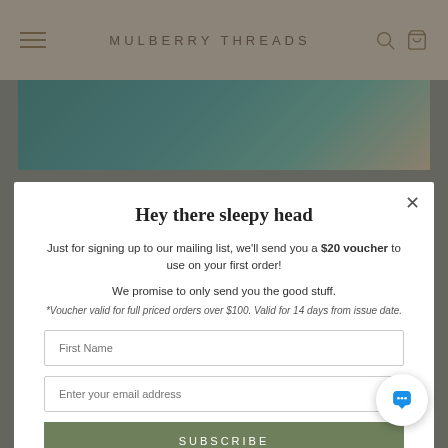MULBERRY THREADS
[Figure (photo): Partial aerial or overhead view of a teal/green water scene with rocky edges, cropped at top of page.]
Hey there sleepy head
Just for signing up to our mailing list, we'll send you a $20 voucher to use on your first order!
We promise to only send you the good stuff.
*Voucher valid for full priced orders over $100. Valid for 14 days from issue date.
First Name
Enter your email address
SUBSCRIBE